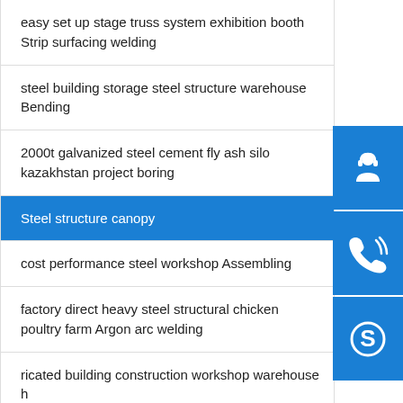easy set up stage truss system exhibition booth Strip surfacing welding
steel building storage steel structure warehouse Bending
2000t galvanized steel cement fly ash silo kazakhstan project boring
Steel structure canopy
cost performance steel workshop Assembling
factory direct heavy steel structural chicken poultry farm Argon arc welding
ricated building construction workshop warehouse h